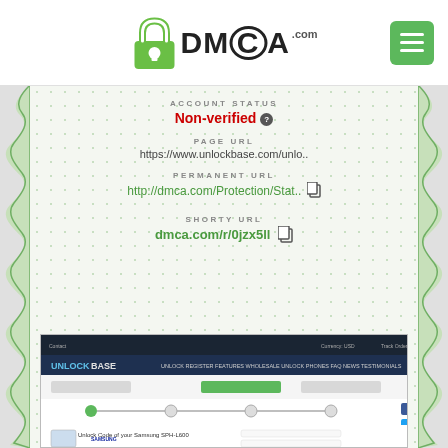[Figure (logo): DMCA.com logo with padlock icon]
[Figure (other): Hamburger menu button (green square with three white lines)]
ACCOUNT STATUS
Non-verified ?
PAGE URL
https://www.unlockbase.com/unlo..
PERMANENT URL
http://dmca.com/Protection/Stat..
SHORTY URL
dmca.com/r/0jzx5ll
[Figure (screenshot): Screenshot of UnlockBase website showing Samsung SPH-L600 unlock code order page]